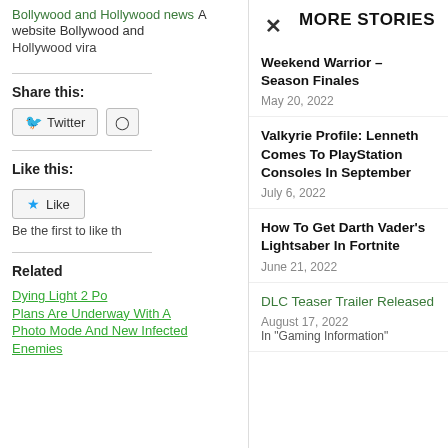Bollywood and Hollywood news A website Bollywood and Hollywood vira
Share this:
Twitter
Like this:
Like
Be the first to like th
Related
Dying Light 2 Po Plans Are Underway With A Photo Mode And New Infected Enemies
MORE STORIES
Weekend Warrior – Season Finales
May 20, 2022
Valkyrie Profile: Lenneth Comes To PlayStation Consoles In September
July 6, 2022
How To Get Darth Vader's Lightsaber In Fortnite
June 21, 2022
DLC Teaser Trailer Released
August 17, 2022
In "Gaming Information"